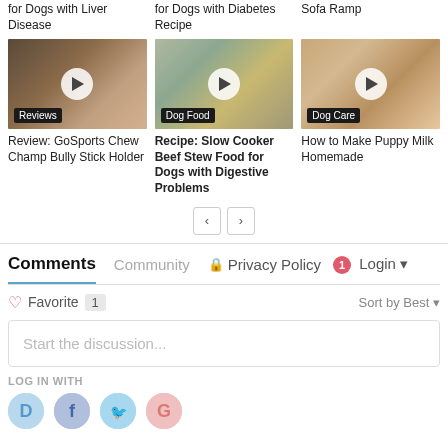for Dogs with Liver Disease
for Dogs with Diabetes Recipe
Sofa Ramp
[Figure (screenshot): Video thumbnail with Reviews badge showing GoSports Chew Champ Bully Stick Holder]
Review: GoSports Chew Champ Bully Stick Holder
[Figure (screenshot): Video thumbnail with Dog Food badge showing Slow Cooker Beef Stew]
Recipe: Slow Cooker Beef Stew Food for Dogs with Digestive Problems
[Figure (screenshot): Video thumbnail with Dog Care badge showing puppy being milk-fed]
How to Make Puppy Milk Homemade
< >
Comments
Community
Privacy Policy
1 Login
♡ Favorite 1
Sort by Best
Start the discussion...
LOG IN WITH
[Figure (screenshot): Social login icons: Disqus (D), Facebook (f), Twitter bird, Google (G)]